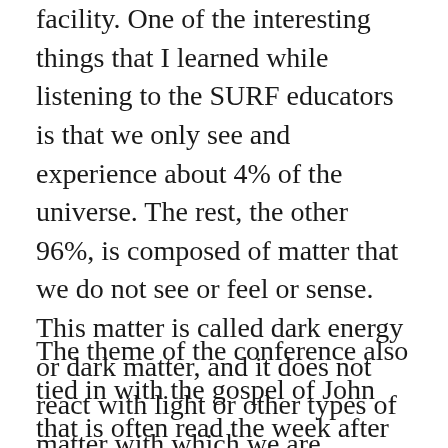facility. One of the interesting things that I learned while listening to the SURF educators is that we only see and experience about 4% of the universe. The rest, the other 96%, is composed of matter that we do not see or feel or sense. This matter is called dark energy or dark matter, and it does not react with light or other types of matter with which we are familiar. The research being done is fascinating and reminds us that there is much more to our universe than what we see. In keeping with this learning option, the theme of the conference was “Witnessing the Unseen.”
The theme of the conference also tied in with the gospel of John that is often read the week after our Easter celebration. In that gospel reading, the apostle named Thomas refuses to